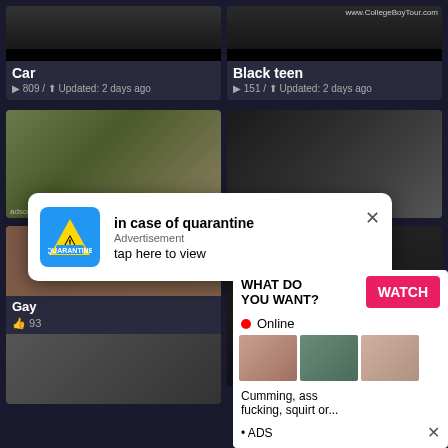[Figure (screenshot): Adult video website screenshot showing video thumbnails with titles Car and Black teen with view counts and update times, plus overlay advertisements including a quarantine ad and adult content ad]
Car
▶ 809 / ⬆ Updated: 2 days ago
Black teen
▶ 151 / ⬆ Updated: 2 days ago
in case of quarantine
Advertisement
tap here to view
Gay
👍 93
WHAT DO YOU WANT?
WATCH
● Online
Cumming, ass fucking, squirt or...
• ADS